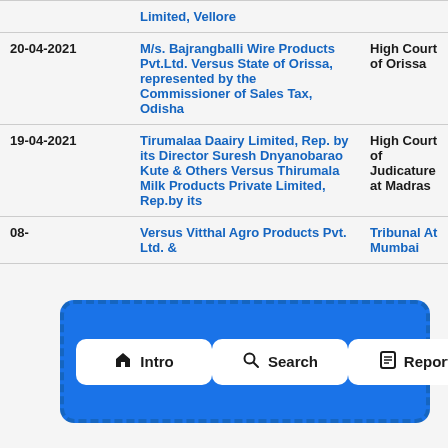| Date | Case | Court |
| --- | --- | --- |
|  | Limited, Vellore |  |
| 20-04-2021 | M/s. Bajrangballi Wire Products Pvt.Ltd. Versus State of Orissa, represented by the Commissioner of Sales Tax, Odisha | High Court of Orissa |
| 19-04-2021 | Tirumalaa Daairy Limited, Rep. by its Director Suresh Dnyanobarao Kute & Others Versus Thirumala Milk Products Private Limited, Rep.by its | High Court of Judicature at Madras |
| 08- | Versus Vitthal Agro Products Pvt. Ltd. & | Tribunal At Mumbai |
[Figure (screenshot): Navigation bar overlay with three buttons: Intro (home icon), Search (magnifying glass icon), Report (document icon), displayed on a blue dashed-border rounded rectangle background]